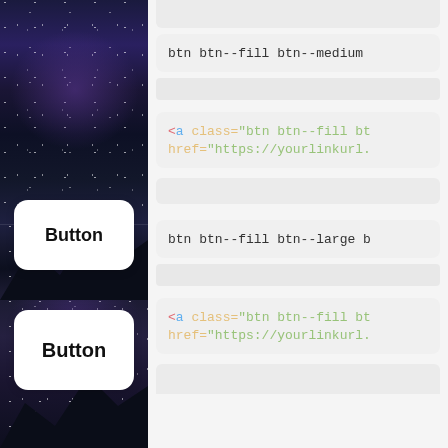[Figure (screenshot): Left panel showing dark night sky / mountain background with two white rounded Button cards. Top section shows medium-sized Button. Bottom section shows large-sized Button.]
btn btn--fill btn--medium
<a class="btn btn--fill bt href="https://yourlinkurl.
btn btn--fill btn--large b
<a class="btn btn--fill bt href="https://yourlinkurl.